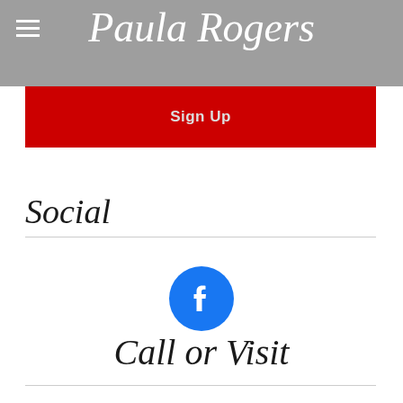Paula Rogers
Sign Up
Social
[Figure (logo): Facebook logo — blue circle with white 'f' letter]
Call or Visit